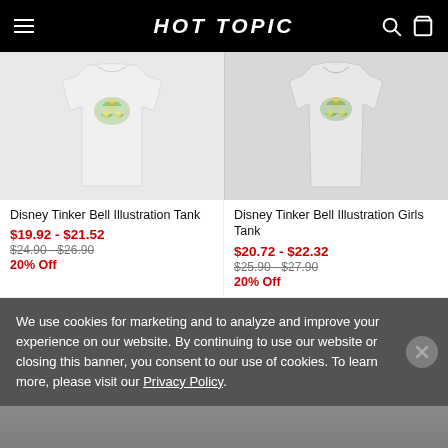HOT TOPIC
[Figure (photo): Two white tank tops with Disney Tinker Bell illustration print shown side by side]
Disney Tinker Bell Illustration Tank
$19.92 - $21.52
$24.90 - $26.90
20% Off
Disney Tinker Bell Illustration Girls Tank
$20.72 - $22.32
$25.90 - $27.90
20% Off
We use cookies for marketing and to analyze and improve your experience on our website. By continuing to use our website or closing this banner, you consent to our use of cookies. To learn more, please visit our Privacy Policy.
[Figure (photo): Partially visible product image at the bottom of the page, obscured by the cookie banner overlay]